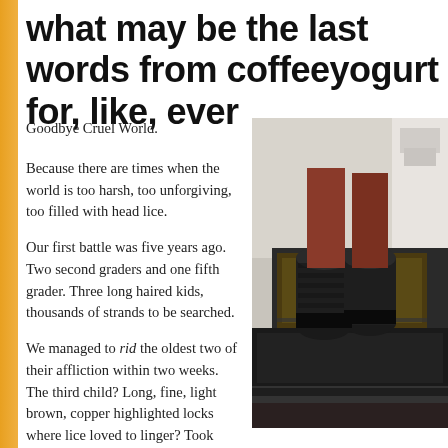what may be the last words from coffeeyogurt for, like, ever
Goodbye Cruel World.
Because there are times when the world is too harsh, too unforgiving, too filled with head lice.
Our first battle was five years ago. Two second graders and one fifth grader. Three long haired kids, thousands of strands to be searched.
[Figure (photo): Photo of boots sticking out of an open oven door, viewed from the side. Kitchen appliance visible in background with white walls.]
We managed to rid the oldest two of their affliction within two weeks. The third child? Long, fine, light brown, copper highlighted locks where lice loved to linger? Took months. A good six months, maybe nine. Some of the worst months of child rearing, I do